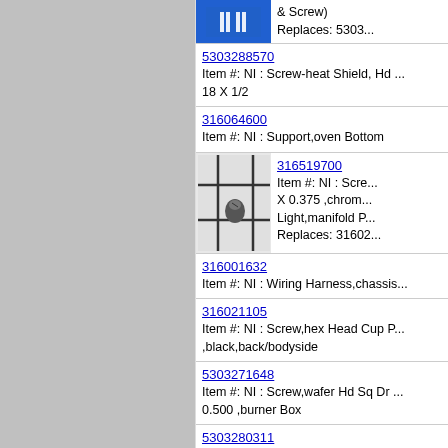[Figure (photo): Blue product image (partial) at top right]
& Screw)
Replaces: 5303...
5303288570
Item #: NI : Screw-heat Shield, Hd ...
18 X 1/2
316064600
Item #: NI : Support,oven Bottom
[Figure (photo): Small screw part on white background with crosshair marks]
316519700
Item #: NI : Scre...
X 0.375 ,chrom...
Light,manifold P...
Replaces: 31602...
316001632
Item #: NI : Wiring Harness,chassis...
316021105
Item #: NI : Screw,hex Head Cup P...
,black,back/bodyside
5303271648
Item #: NI : Screw,wafer Hd Sq Dr ...
0.500 ,burner Box
5303280311
Item #: NI : Screw,wafer Hd Sq Dr ...